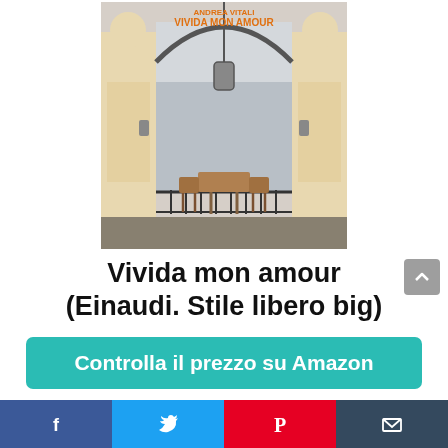[Figure (illustration): Book cover of 'Vivida mon amour' by Andrea Vitali, showing an ornate arch gateway with lamp and two chairs at a lakeside terrace, mountains in background. Title text in orange at top.]
Vivida mon amour (Einaudi. Stile libero big)
Controlla il prezzo su Amazon
[Figure (infographic): Social sharing bar with Facebook, Twitter, Pinterest, and email icons]